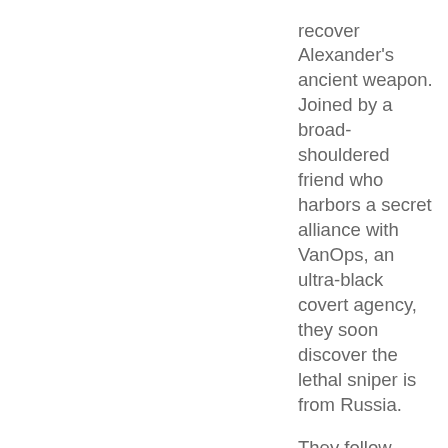recover Alexander's ancient weapon. Joined by a broad-shouldered friend who harbors a secret alliance with VanOps, an ultra-black covert agency, they soon discover the lethal sniper is from Russia.

They follow time-worn clues from a medieval Spanish castle to a lost warren under the streets of Jerusalem, racing to unlock the